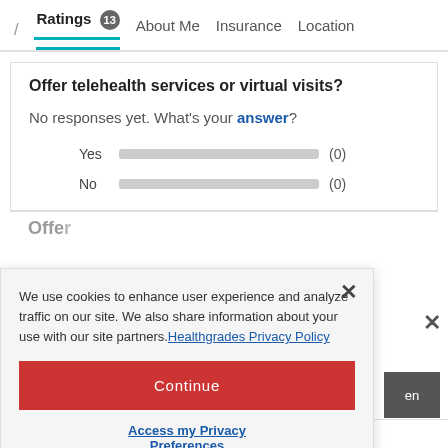/ Ratings 13  About Me  Insurance  Location
Offer telehealth services or virtual visits?
No responses yet. What's your answer?
Yes  (0)
No  (0)
Offer... (partial, cut off)
We use cookies to enhance user experience and analyze traffic on our site. We also share information about your use with our site partners. Healthgrades Privacy Policy
Continue
Access my Privacy Preferences